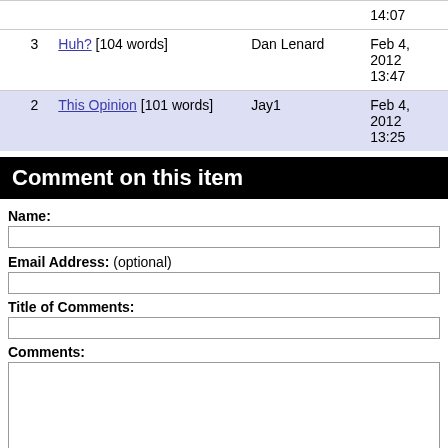| # | Title | Author | Date |
| --- | --- | --- | --- |
|  |  |  | 14:07 |
| 3 | Huh? [104 words] | Dan Lenard | Feb 4, 2012 13:47 |
| 2 | This Opinion [101 words] | Jay1 | Feb 4, 2012 13:25 |
Comment on this item
Name:
Email Address: (optional)
Title of Comments:
Comments:
Mark my comment as a response to Harry, you miss my point by sara